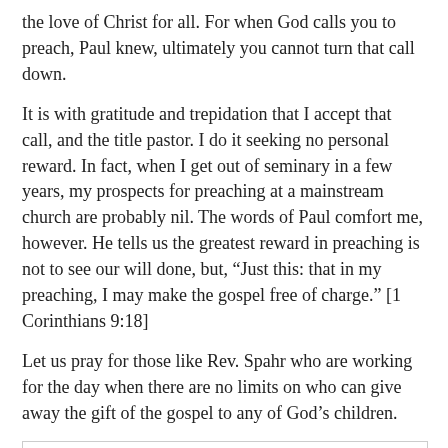the love of Christ for all. For when God calls you to preach, Paul knew, ultimately you cannot turn that call down.
It is with gratitude and trepidation that I accept that call, and the title pastor. I do it seeking no personal reward. In fact, when I get out of seminary in a few years, my prospects for preaching at a mainstream church are probably nil. The words of Paul comfort me, however. He tells us the greatest reward in preaching is not to see our will done, but, “Just this: that in my preaching, I may make the gospel free of charge.” [1 Corinthians 9:18]
Let us pray for those like Rev. Spahr who are working for the day when there are no limits on who can give away the gift of the gospel to any of God’s children.
[Figure (photo): A portrait photo of a person with short dark hair, facing slightly to the side, with green foliage visible in the background. The photo is contained within a bordered box.]